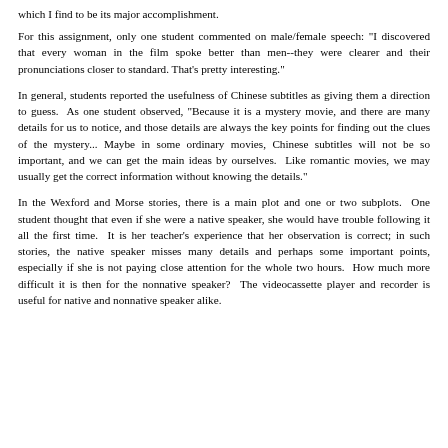which I find to be its major accomplishment.
For this assignment, only one student commented on male/female speech: "I discovered that every woman in the film spoke better than men--they were clearer and their pronunciations closer to standard. That's pretty interesting."
In general, students reported the usefulness of Chinese subtitles as giving them a direction to guess.  As one student observed, "Because it is a mystery movie, and there are many details for us to notice, and those details are always the key points for finding out the clues of the mystery... Maybe in some ordinary movies, Chinese subtitles will not be so important, and we can get the main ideas by ourselves.  Like romantic movies, we may usually get the correct information without knowing the details."
In the Wexford and Morse stories, there is a main plot and one or two subplots.  One student thought that even if she were a native speaker, she would have trouble following it all the first time.  It is her teacher's experience that her observation is correct; in such stories, the native speaker misses many details and perhaps some important points, especially if she is not paying close attention for the whole two hours.  How much more difficult it is then for the nonnative speaker?  The videocassette player and recorder is useful for native and nonnative speaker alike.